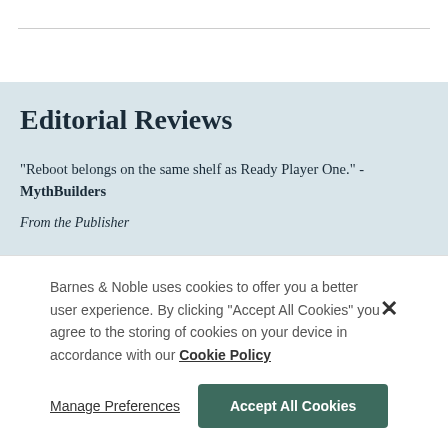Editorial Reviews
"Reboot belongs on the same shelf as Ready Player One." - MythBuilders
From the Publisher
Barnes & Noble uses cookies to offer you a better user experience. By clicking "Accept All Cookies" you agree to the storing of cookies on your device in accordance with our Cookie Policy
Manage Preferences
Accept All Cookies